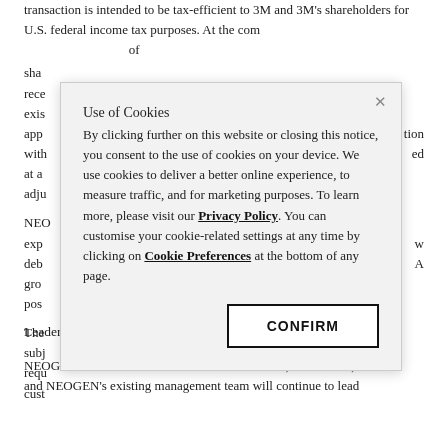transaction is intended to be tax-efficient to 3M and 3M's shareholders for U.S. federal income tax purposes. At the completion of the transaction, NEOGEN will be a [...]  of shareholders [...] receive [...] existing [...] approval [...] with [...] ed at a [...] adjusted [...]
[Figure (screenshot): Cookie consent modal dialog overlaying the document. Title: 'Use of Cookies'. Body text: 'By clicking further on this website or closing this notice, you consent to the use of cookies on your device. We use cookies to deliver a better online experience, to measure traffic, and for marketing purposes. To learn more, please visit our Privacy Policy. You can customise your cookie-related settings at any time by clicking on Cookie Preferences at the bottom of any page.' A 'CONFIRM' button is shown at the bottom right.]
NEOGEN [...] experience [...] new debt [...] EBITDA growth [...] post-[...]
The [...] subject [...] regulatory [...] customary [...]
Leadership and Governance
NEOGEN's President and Chief Executive Officer, John Adent, and NEOGEN's existing management team will continue to lead